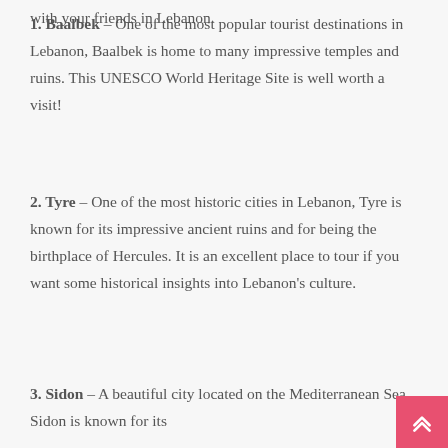1. Baalbek – One of the most popular tourist destinations in Lebanon, Baalbek is home to many impressive temples and ruins. This UNESCO World Heritage Site is well worth a visit!
2. Tyre – One of the most historic cities in Lebanon, Tyre is known for its impressive ancient ruins and for being the birthplace of Hercules. It is an excellent place to tour if you want some historical insights into Lebanon's culture.
3. Sidon – A beautiful city located on the Mediterranean Sea, Sidon is known for its